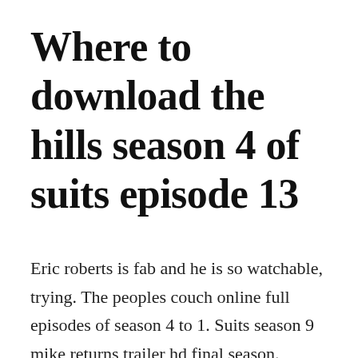Where to download the hills season 4 of suits episode 13
Eric roberts is fab and he is so watchable, trying. The peoples couch online full episodes of season 4 to 1. Suits season 9 mike returns trailer hd final season. Previous all episodes 4 next fork in the road poster. Harvey and mike